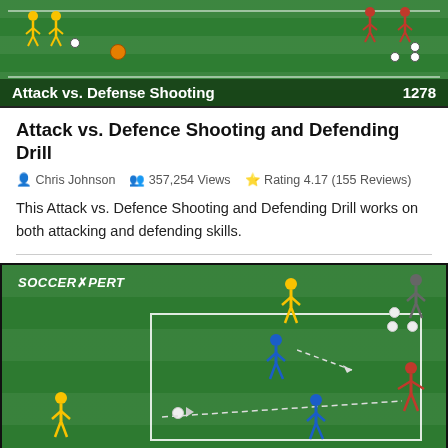[Figure (illustration): Soccer drill diagram showing Attack vs. Defense Shooting drill on a green field with player icons and number 1278]
Attack vs. Defence Shooting and Defending Drill
Chris Johnson   357,254 Views   Rating 4.17 (155 Reviews)
This Attack vs. Defence Shooting and Defending Drill works on both attacking and defending skills.
[Figure (illustration): SoccerXpert branded soccer drill diagram showing attacking and defending players (yellow, blue, red) on a green field with dashed movement lines and soccer balls]